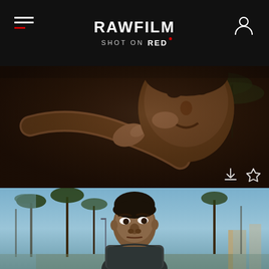RAWFILM — SHOT ON RED
[Figure (photo): Close-up cinematic shot of a young Black man with his hand near his mouth, dark moody lighting, shallow depth of field]
[Figure (photo): Young man with serious expression standing outdoors with palm trees in the background, bright daylight, California beach setting]